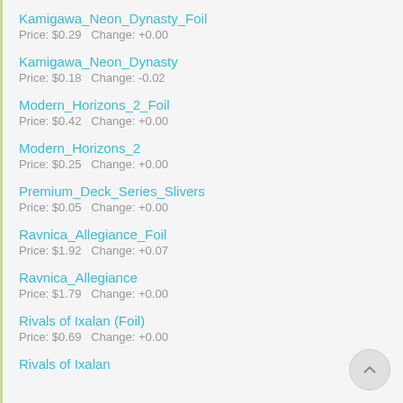Kamigawa_Neon_Dynasty_Foil
Price: $0.29   Change: +0.00
Kamigawa_Neon_Dynasty
Price: $0.18   Change: -0.02
Modern_Horizons_2_Foil
Price: $0.42   Change: +0.00
Modern_Horizons_2
Price: $0.25   Change: +0.00
Premium_Deck_Series_Slivers
Price: $0.05   Change: +0.00
Ravnica_Allegiance_Foil
Price: $1.92   Change: +0.07
Ravnica_Allegiance
Price: $1.79   Change: +0.00
Rivals of Ixalan (Foil)
Price: $0.69   Change: +0.00
Rivals of Ixalan